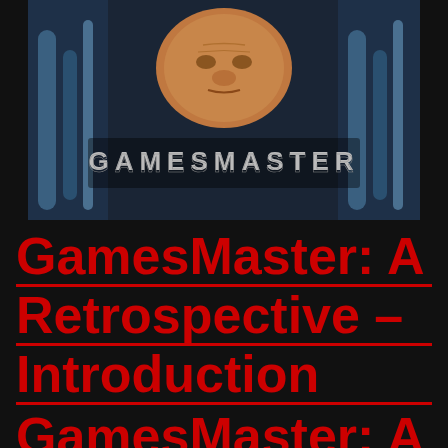[Figure (photo): GamesMaster TV show promotional image with a face and the GamesMaster logo text on a dark blue mechanical background]
GamesMaster: A Retrospective – Introduction
GamesMaster: A